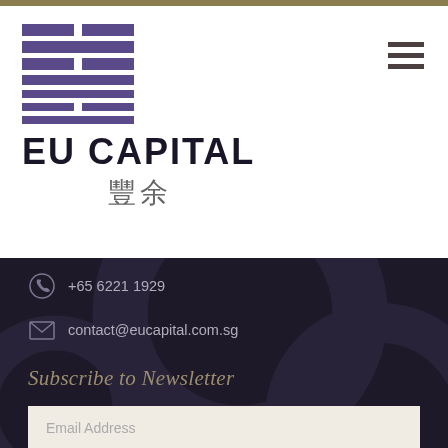[Figure (logo): EU Capital logo with purple grid/block symbol above text 'EU CAPITAL' and Chinese characters '豐余']
+65 6221 1929
contact@eucapital.com.sg
Subscribe to Newsletter
Email Address
SUBMIT